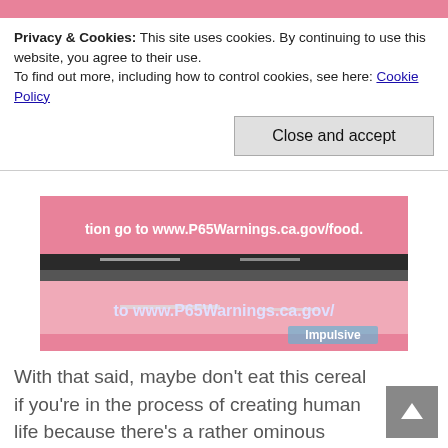[Figure (photo): Pink top strip of a webpage]
Privacy & Cookies: This site uses cookies. By continuing to use this website, you agree to their use.
To find out more, including how to control cookies, see here: Cookie Policy
Close and accept
[Figure (photo): Close-up photo of a pink cereal box showing text 'tion go to www.P65Warnings.ca.gov/food.' and 'to www.P65Warnings.ca.gov/' with 'Impulsive' watermark in bottom right corner]
With that said, maybe don’t eat this cereal if you’re in the process of creating human life because there’s a rather ominous warning on the box. Luckily for me, I don’t live in California, so I guess I’m just immune to the effects of acrylamide.